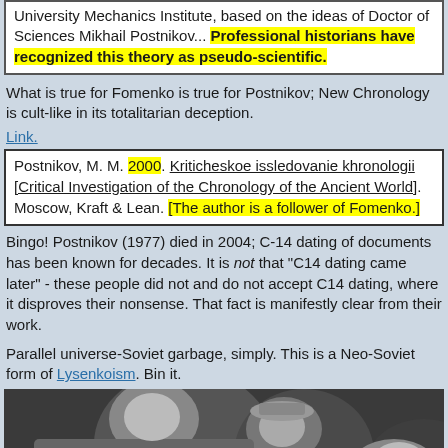University Mechanics Institute, based on the ideas of Doctor of Sciences Mikhail Postnikov... Professional historians have recognized this theory as pseudo-scientific.
What is true for Fomenko is true for Postnikov; New Chronology is cult-like in its totalitarian deception.
Link.
Postnikov, M. M. 2000. Kriticheskoe issledovanie khronologii [Critical Investigation of the Chronology of the Ancient World]. Moscow, Kraft & Lean. [The author is a follower of Fomenko.]
Bingo! Postnikov (1977) died in 2004; C-14 dating of documents has been known for decades. It is not that "C14 dating came later" - these people did not and do not accept C14 dating, where it disproves their nonsense. That fact is manifestly clear from their work.
Parallel universe-Soviet garbage, simply. This is a Neo-Soviet form of Lysenkoism. Bin it.
[Figure (photo): Black and white photograph of people, cropped at bottom of page]